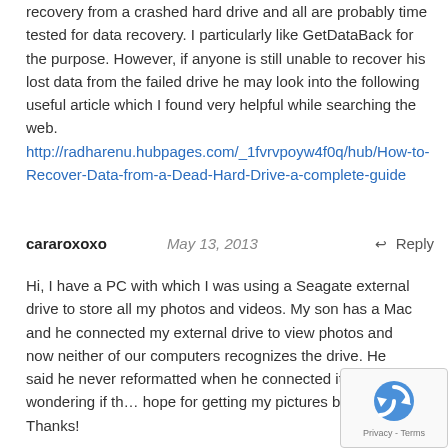recovery from a crashed hard drive and all are probably time tested for data recovery. I particularly like GetDataBack for the purpose. However, if anyone is still unable to recover his lost data from the failed drive he may look into the following useful article which I found very helpful while searching the web.
http://radharenu.hubpages.com/_1fvrvpoyw4f0q/hub/How-to-Recover-Data-from-a-Dead-Hard-Drive-a-complete-guide
cararoxoxo   May 13, 2013   ↩ Reply
Hi, I have a PC with which I was using a Seagate external drive to store all my photos and videos. My son has a Mac and he connected my external drive to view photos and now neither of our computers recognizes the drive. He said he never reformatted when he connected it. I'm just wondering if th... hope for getting my pictures back? Thanks!